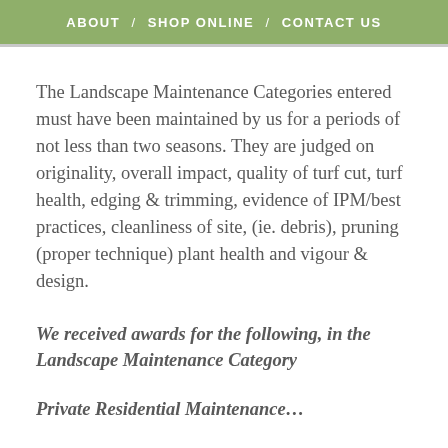ABOUT / SHOP ONLINE / CONTACT US
The Landscape Maintenance Categories entered must have been maintained by us for a periods of not less than two seasons. They are judged on originality, overall impact, quality of turf cut, turf health, edging & trimming, evidence of IPM/best practices, cleanliness of site, (ie. debris), pruning (proper technique) plant health and vigour & design.
We received awards for the following, in the Landscape Maintenance Category
Private Residential Maintenance...